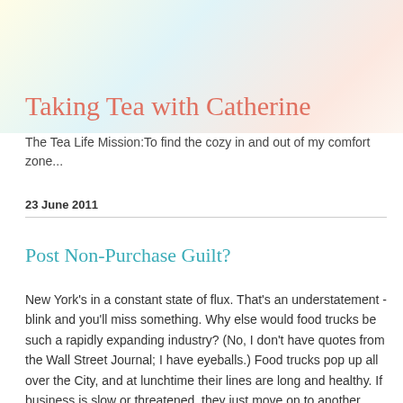Taking Tea with Catherine
The Tea Life Mission:To find the cozy in and out of my comfort zone...
23 June 2011
Post Non-Purchase Guilt?
New York's in a constant state of flux. That's an understatement - blink and you'll miss something. Why else would food trucks be such a rapidly expanding industry? (No, I don't have quotes from the Wall Street Journal; I have eyeballs.) Food trucks pop up all over the City, and at lunchtime their lines are long and healthy. If business is slow or threatened, they just move on to another location. They